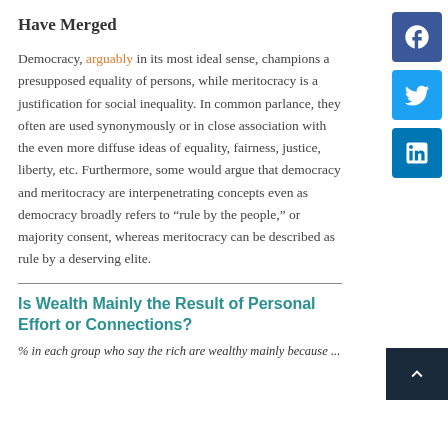Have Merged
Democracy, arguably in its most ideal sense, champions a presupposed equality of persons, while meritocracy is a justification for social inequality. In common parlance, they often are used synonymously or in close association with the even more diffuse ideas of equality, fairness, justice, liberty, etc. Furthermore, some would argue that democracy and meritocracy are interpenetrating concepts even as democracy broadly refers to “rule by the people,” or majority consent, whereas meritocracy can be described as rule by a deserving elite.
Is Wealth Mainly the Result of Personal Effort or Connections?
% in each group who say the rich are wealthy mainly because ...